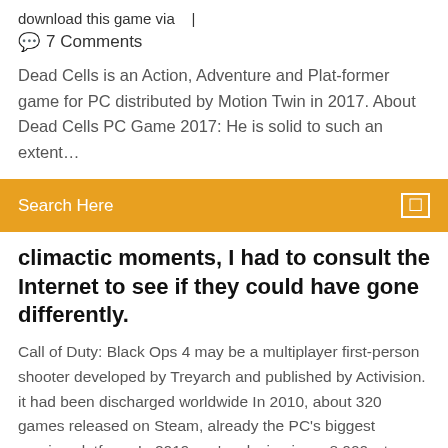download this game via   |
💬 7 Comments
Dead Cells is an Action, Adventure and Plat-former game for PC distributed by Motion Twin in 2017. About Dead Cells PC Game 2017: He is solid to such an extent…
Search Here
climactic moments, I had to consult the Internet to see if they could have gone differently.
Call of Duty: Black Ops 4 may be a multiplayer first-person shooter developed by Treyarch and published by Activision. it had been discharged worldwide In 2010, about 320 games released on Steam, already the PC's biggest gaming platform. In 2019, we're closing in on 8,000—too many games to possibly keep track of. In 2010, there was no Twitch.tv. World of Tanks is a team-based free MMO action game. Here you will find some World of Tanks...